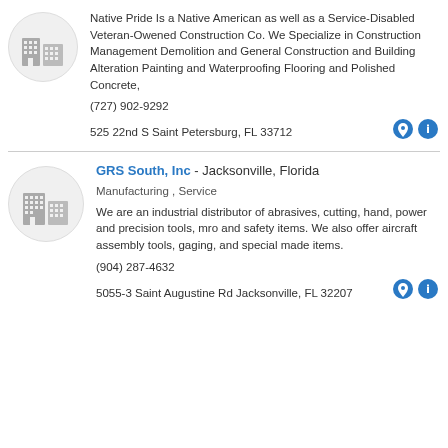[Figure (logo): Gray building/office icon in a light gray circle]
Native Pride Is a Native American as well as a Service-Disabled Veteran-Owened Construction Co. We Specialize in Construction Management Demolition and General Construction and Building Alteration Painting and Waterproofing Flooring and Polished Concrete,
(727) 902-9292
525 22nd S Saint Petersburg, FL 33712
[Figure (logo): Gray building/office icon in a light gray circle]
GRS South, Inc - Jacksonville, Florida
Manufacturing , Service
We are an industrial distributor of abrasives, cutting, hand, power and precision tools, mro and safety items. We also offer aircraft assembly tools, gaging, and special made items.
(904) 287-4632
5055-3 Saint Augustine Rd Jacksonville, FL 32207